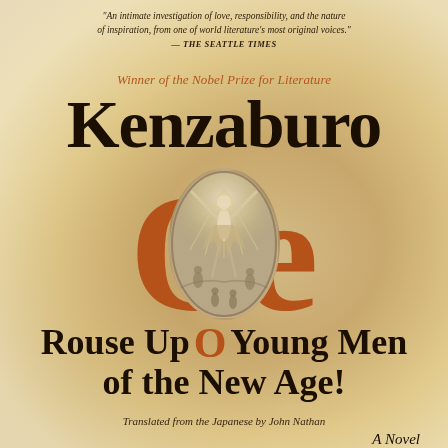"An intimate investigation of love, responsibility, and the nature of inspiration, from one of world literature's most original voices." —THE SEATTLE TIMES
Winner of the Nobel Prize for Literature
Kenzaburo Oe
[Figure (illustration): Oval-framed classical Blake-style engraving of a luminous figure with arms raised upward, surrounded by smaller figures below, set within the large orange letters 'Oe']
Rouse Up O Young Men of the New Age!
Translated from the Japanese by John Nathan
A Novel